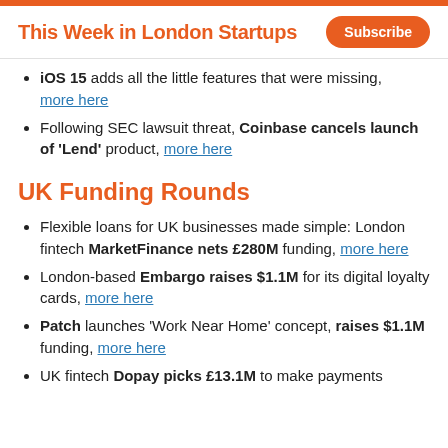This Week in London Startups
iOS 15 adds all the little features that were missing, more here
Following SEC lawsuit threat, Coinbase cancels launch of 'Lend' product, more here
UK Funding Rounds
Flexible loans for UK businesses made simple: London fintech MarketFinance nets £280M funding, more here
London-based Embargo raises $1.1M for its digital loyalty cards, more here
Patch launches 'Work Near Home' concept, raises $1.1M funding, more here
UK fintech Dopay picks £13.1M to make payments